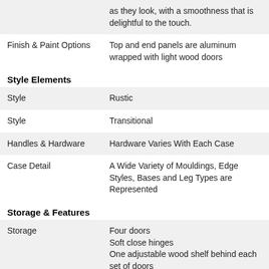|  | as they look, with a smoothness that is delightful to the touch. |
| Finish & Paint Options | Top and end panels are aluminum wrapped with light wood doors |
Style Elements
| Style | Rustic |
| Style | Transitional |
| Handles & Hardware | Hardware Varies With Each Case |
| Case Detail | A Wide Variety of Mouldings, Edge Styles, Bases and Leg Types are Represented |
Storage & Features
| Storage | Four doors
Soft close hinges
One adjustable wood shelf behind each set of doors
Ventilated back panel |